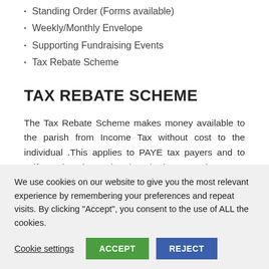Standing Order (Forms available)
Weekly/Monthly Envelope
Supporting Fundraising Events
Tax Rebate Scheme
TAX REBATE SCHEME
The Tax Rebate Scheme makes money available to the parish from Income Tax without cost to the individual .This applies to PAYE tax payers and to self employed people, though the procedures are different for both.
Once the total identifiable contributions, paid in a year is €250
We use cookies on our website to give you the most relevant experience by remembering your preferences and repeat visits. By clicking "Accept", you consent to the use of ALL the cookies.
Cookie settings | ACCEPT | REJECT